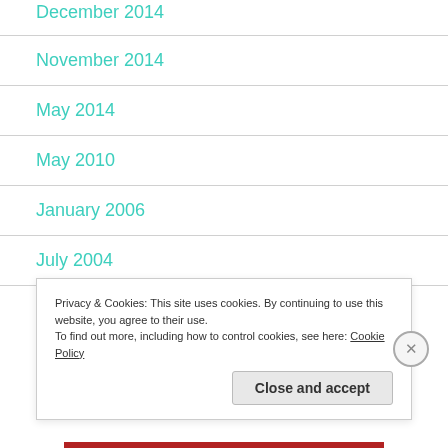December 2014
November 2014
May 2014
May 2010
January 2006
July 2004
Privacy & Cookies: This site uses cookies. By continuing to use this website, you agree to their use.
To find out more, including how to control cookies, see here: Cookie Policy
Close and accept